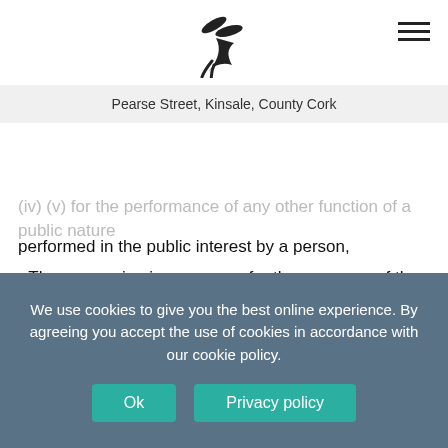[Figure (logo): Bird/leaf logo for Kinsale Dental, black stylized bird shape]
Pearse Street, Kinsale, County Cork
(ii) (ii) for the performance of a function conferred on a person by or under an enactment, (iii) for the performance of a function of the
(iv) (v) for the performance of any other function of a public nature
performed in the public interest by a person,
• The processing is necessary for the purposes of the legitimate interests pursued by Kinsale Dental or by a third party or parties to whom the data are disclosed, except where the processing is unwarranted in any particular case by reason of prejudice to the fundamental rights and freedoms or legitimate interests of the data subject.
We use cookies to give you the best online experience. By agreeing you accept the use of cookies in accordance with our cookie policy.